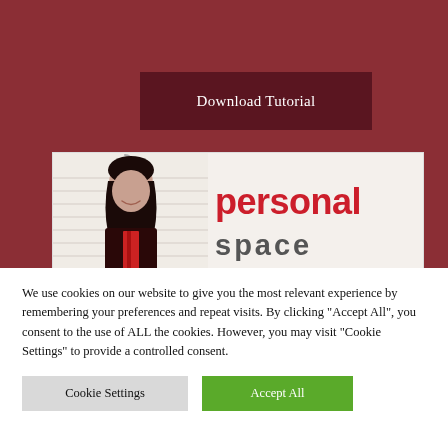[Figure (screenshot): Dark red background header section of a website]
Download Tutorial
[Figure (photo): Website screenshot showing a woman with dark hair and text reading 'personal space' on a light background with a paperclip graphic]
We use cookies on our website to give you the most relevant experience by remembering your preferences and repeat visits. By clicking “Accept All”, you consent to the use of ALL the cookies. However, you may visit "Cookie Settings" to provide a controlled consent.
Cookie Settings
Accept All